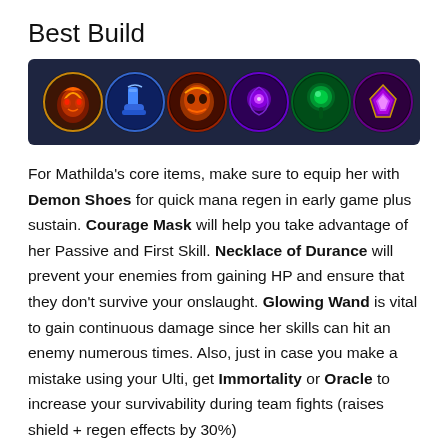Best Build
[Figure (illustration): Six circular game item icons on a dark navy background: a red/gold mask item, blue boots, orange/red item, purple item with swirl, green item, and purple/gold item.]
For Mathilda's core items, make sure to equip her with Demon Shoes for quick mana regen in early game plus sustain. Courage Mask will help you take advantage of her Passive and First Skill. Necklace of Durance will prevent your enemies from gaining HP and ensure that they don't survive your onslaught. Glowing Wand is vital to gain continuous damage since her skills can hit an enemy numerous times. Also, just in case you make a mistake using your Ulti, get Immortality or Oracle to increase your survivability during team fights (raises shield + regen effects by 30%)